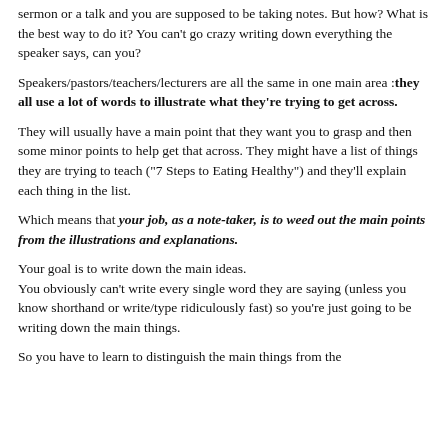sermon or a talk and you are supposed to be taking notes. But how? What is the best way to do it? You can't go crazy writing down everything the speaker says, can you?
Speakers/pastors/teachers/lecturers are all the same in one main area :they all use a lot of words to illustrate what they're trying to get across.
They will usually have a main point that they want you to grasp and then some minor points to help get that across. They might have a list of things they are trying to teach ("7 Steps to Eating Healthy") and they'll explain each thing in the list.
Which means that your job, as a note-taker, is to weed out the main points from the illustrations and explanations.
Your goal is to write down the main ideas.
You obviously can't write every single word they are saying (unless you know shorthand or write/type ridiculously fast) so you're just going to be writing down the main things.
So you have to learn to distinguish the main things from the